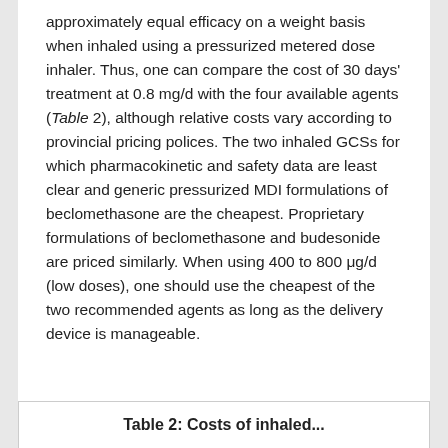approximately equal efficacy on a weight basis when inhaled using a pressurized metered dose inhaler. Thus, one can compare the cost of 30 days' treatment at 0.8 mg/d with the four available agents (Table 2), although relative costs vary according to provincial pricing polices. The two inhaled GCSs for which pharmacokinetic and safety data are least clear and generic pressurized MDI formulations of beclomethasone are the cheapest. Proprietary formulations of beclomethasone and budesonide are priced similarly. When using 400 to 800 μg/d (low doses), one should use the cheapest of the two recommended agents as long as the delivery device is manageable.
Table 2: Costs of inhaled...